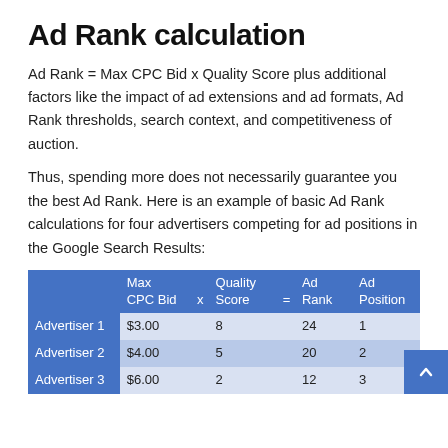Ad Rank calculation
Ad Rank = Max CPC Bid x Quality Score plus additional factors like the impact of ad extensions and ad formats, Ad Rank thresholds, search context, and competitiveness of auction.
Thus, spending more does not necessarily guarantee you the best Ad Rank. Here is an example of basic Ad Rank calculations for four advertisers competing for ad positions in the Google Search Results:
|  | Max CPC Bid | x | Quality Score | = | Ad Rank | Ad Position |
| --- | --- | --- | --- | --- | --- | --- |
| Advertiser 1 | $3.00 |  | 8 |  | 24 | 1 |
| Advertiser 2 | $4.00 |  | 5 |  | 20 | 2 |
| Advertiser 3 | $6.00 |  | 2 |  | 12 | 3 |